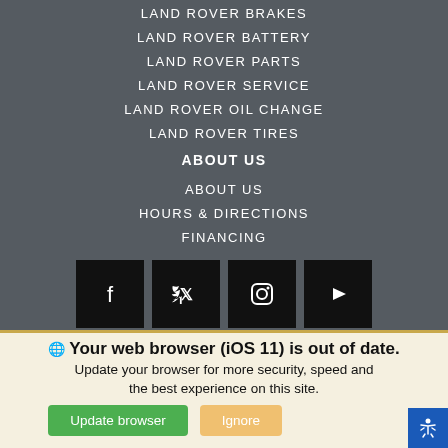LAND ROVER BRAKES
LAND ROVER BATTERY
LAND ROVER PARTS
LAND ROVER SERVICE
LAND ROVER OIL CHANGE
LAND ROVER TIRES
ABOUT US
ABOUT US
HOURS & DIRECTIONS
FINANCING
[Figure (infographic): Social media icons row: Facebook, Twitter, Instagram, YouTube]
PRIVACY POLICY   SITE MAP   LANDROVERUSA.COM   CONTACT US   ACCESSIBILITY   DO NOT SELL MY PERSONAL INFORMATION
Your web browser (iOS 11) is out of date. Update your browser for more security, speed and the best experience on this site.